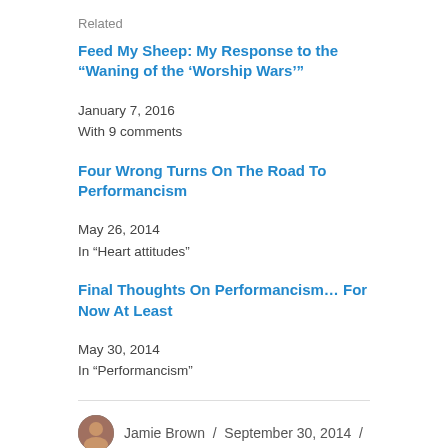Related
Feed My Sheep: My Response to the “Waning of the ‘Worship Wars’”
January 7, 2016
With 9 comments
Four Wrong Turns On The Road To Performancism
May 26, 2014
In “Heart attitudes”
Final Thoughts On Performancism… For Now At Least
May 30, 2014
In “Performancism”
Jamie Brown / September 30, 2014 /